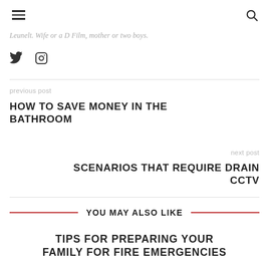≡ (menu) 🔍 (search)
...Leunelt. Wife or a D Film, mother or two boys.
[Figure (other): Social media icons: Twitter bird icon and Instagram camera icon]
previous post
HOW TO SAVE MONEY IN THE BATHROOM
next post
SCENARIOS THAT REQUIRE DRAIN CCTV
YOU MAY ALSO LIKE
TIPS FOR PREPARING YOUR FAMILY FOR FIRE EMERGENCIES